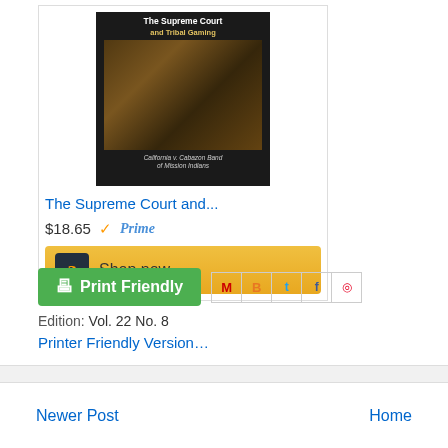[Figure (other): Book cover for 'The Supreme Court and Tribal Gaming' showing a dark background with gaming imagery]
The Supreme Court and...
$18.65  ✓Prime
[Figure (other): Amazon Shop now button with Amazon logo]
[Figure (other): Print Friendly green button with printer icon]
[Figure (other): Social share icons: Gmail, Blogger, Twitter, Facebook, Pinterest]
Edition: Vol. 22 No. 8
Printer Friendly Version…
Newer Post
Home